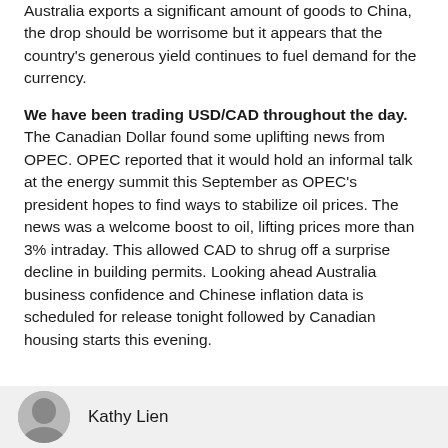Australia exports a significant amount of goods to China, the drop should be worrisome but it appears that the country's generous yield continues to fuel demand for the currency.
We have been trading USD/CAD throughout the day. The Canadian Dollar found some uplifting news from OPEC. OPEC reported that it would hold an informal talk at the energy summit this September as OPEC's president hopes to find ways to stabilize oil prices. The news was a welcome boost to oil, lifting prices more than 3% intraday. This allowed CAD to shrug off a surprise decline in building permits. Looking ahead Australia business confidence and Chinese inflation data is scheduled for release tonight followed by Canadian housing starts this evening.
Kathy Lien